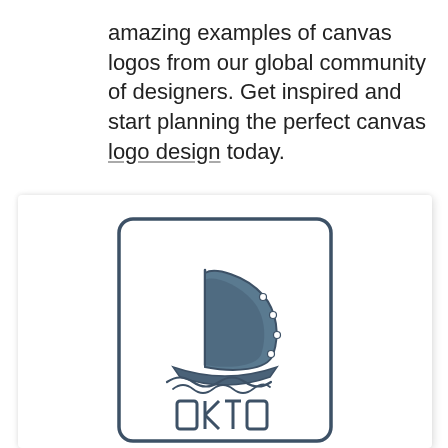amazing examples of canvas logos from our global community of designers. Get inspired and start planning the perfect canvas logo design today.
[Figure (logo): A sailboat logo inside a rounded rectangle border. The sail is dark blue-grey forming a crescent/D shape with dots along the edge. Below the sail is a boat hull on stylized waves. Below the image is text in a geometric/runic style font reading 'OKTO' or similar.]